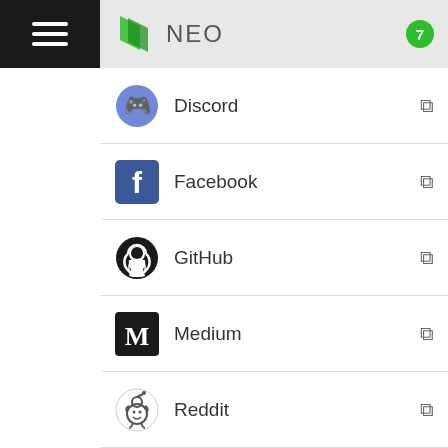NEO  7
Discord
Facebook
GitHub
Medium
Reddit
Twitter
Website
Tags: NEO
Search